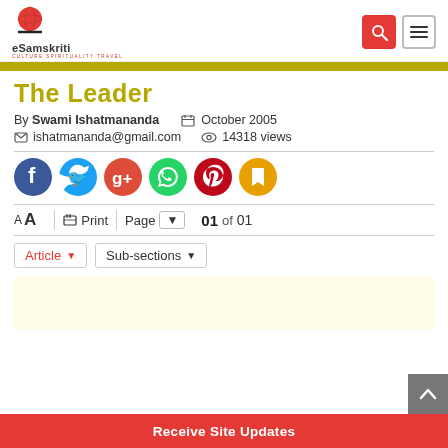eSamskriti — CULTURE SPIRITUALITY TRAVEL
The Leader
By Swami Ishatmananda   October 2005
ishatmananda@gmail.com   14318 views
[Figure (infographic): Social sharing icons: Facebook, Twitter, Google+, WhatsApp, Pinterest, Bookmark]
A A   Print   Page ▼   01 of 01
Article ▼   Sub-sections ▼
[Figure (other): Yellow advertisement placeholder area]
Receive Site Updates